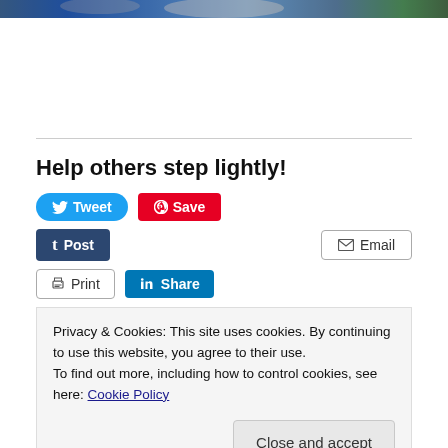[Figure (photo): Partial photo strip of people at the top of the page]
Help others step lightly!
[Figure (infographic): Social sharing buttons: Tweet, Save (Pinterest), Post (Tumblr), Email, Print, LinkedIn Share]
Privacy & Cookies: This site uses cookies. By continuing to use this website, you agree to their use.
To find out more, including how to control cookies, see here: Cookie Policy
Close and accept